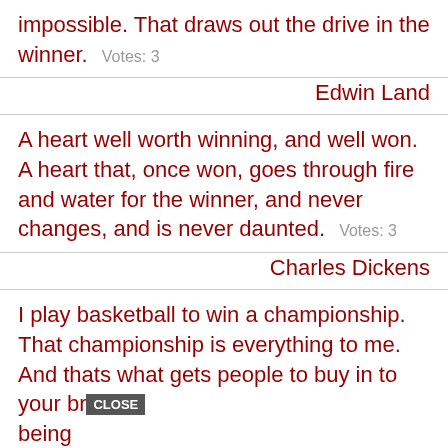impossible. That draws out the drive in the winner.  Votes: 3
Edwin Land
A heart well worth winning, and well won. A heart that, once won, goes through fire and water for the winner, and never changes, and is never daunted.  Votes: 3
Charles Dickens
I play basketball to win a championship. That championship is everything to me. And thats what gets people to buy in to your br[CLOSE] being [AD: 37 BEAUTY PRODUCTS WITH SUCH GOOD REVIEWS YOU MIGHT WANT TO TRY THEM YOURSELF]
Chris Paul
When I was a kid, my mother told me that if